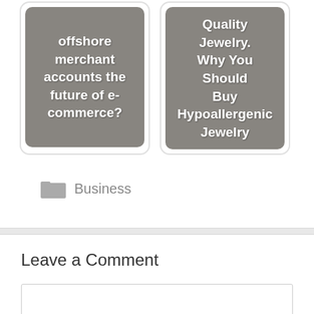[Figure (other): Card with gray background showing text: 'offshore merchant accounts the future of e-commerce?']
[Figure (other): Card with gray background showing text: 'Quality Jewelry. Why You Should Buy Hypoallergenic Jewelry']
Business
Leave a Comment